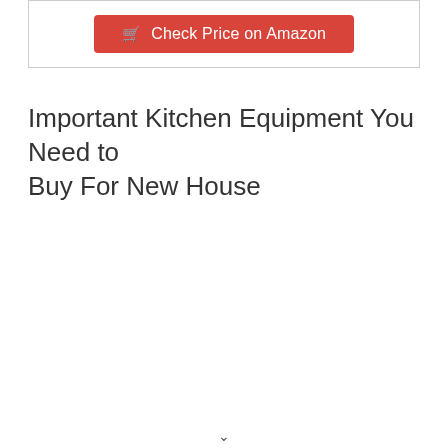[Figure (other): Red 'Check Price on Amazon' button with shopping cart icon inside a bordered box]
Important Kitchen Equipment You Need to Buy For New House